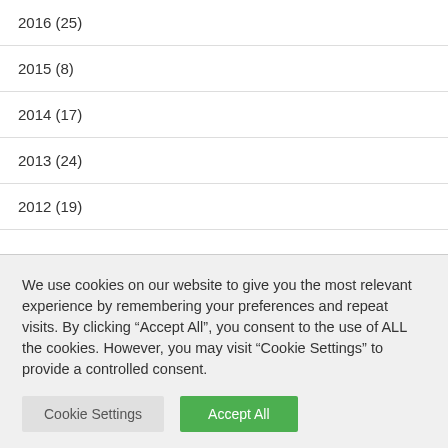2016 (25)
2015 (8)
2014 (17)
2013 (24)
2012 (19)
We use cookies on our website to give you the most relevant experience by remembering your preferences and repeat visits. By clicking “Accept All”, you consent to the use of ALL the cookies. However, you may visit "Cookie Settings" to provide a controlled consent.
Cookie Settings | Accept All